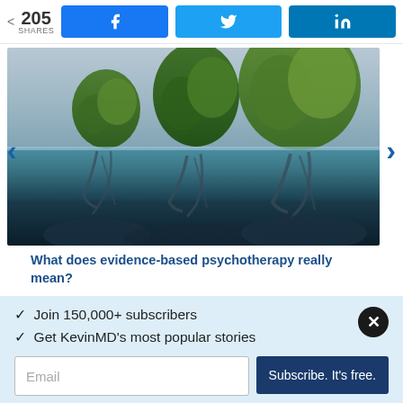205 SHARES | Facebook | Twitter | LinkedIn
[Figure (photo): Three green tree-shaped heads emerging from water, showing above and below waterline — a surreal mental health illustration]
What does evidence-based psychotherapy really mean?
✓  Join 150,000+ subscribers
✓  Get KevinMD's most popular stories
Email | Subscribe. It's free.